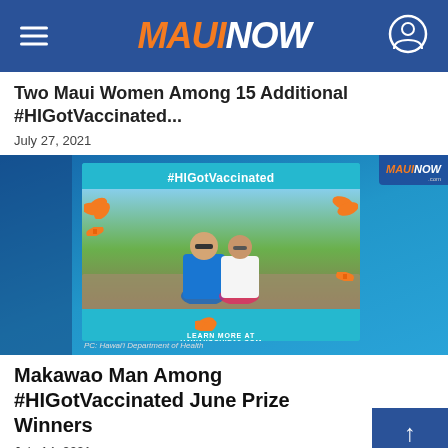MAUI NOW
Two Maui Women Among 15 Additional #HIGotVaccinated...
July 27, 2021
[Figure (photo): Photo of a couple sitting together with #HIGotVaccinated frame, orange tropical leaf decorations, text 'LEARN MORE AT HAWAIICOVID19.COM', PC: Hawai'i Department of Health]
Makawao Man Among #HIGotVaccinated June Prize Winners
July 14, 2021